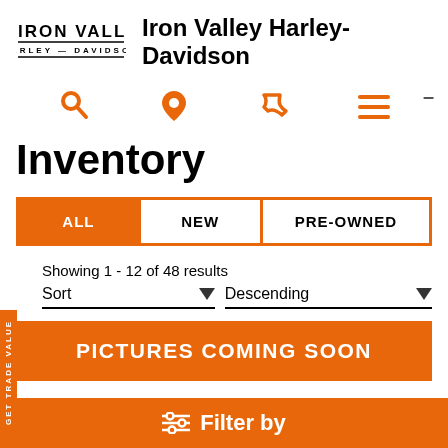Iron Valley Harley-Davidson
[Figure (logo): Iron Valley Harley-Davidson logo with text IRON VALLEY and HARLEY—DAVIDSON]
Iron Valley Harley-Davidson
[Figure (infographic): Navigation icons: search (magnifying glass), location pin, phone, hamburger menu]
Inventory
| ALL | NEW | PRE-OWNED |
| --- | --- | --- |
|  |
Showing 1 - 12 of 48 results
Sort ▾   Descending ▾
[Figure (infographic): Orange banner with text PICTURES COMING SOON]
GET TRADE VALUE
≡ Filter by